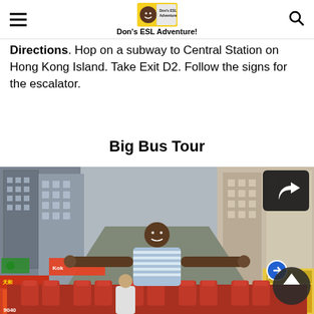Don's ESL Adventure!
Directions. Hop on a subway to Central Station on Hong Kong Island. Take Exit D2. Follow the signs for the escalator.
Big Bus Tour
[Figure (photo): Man standing with arms outstretched on top deck of a red double-decker bus on a busy Hong Kong street, surrounded by tall buildings and colorful storefronts. Red bus seats visible in foreground.]